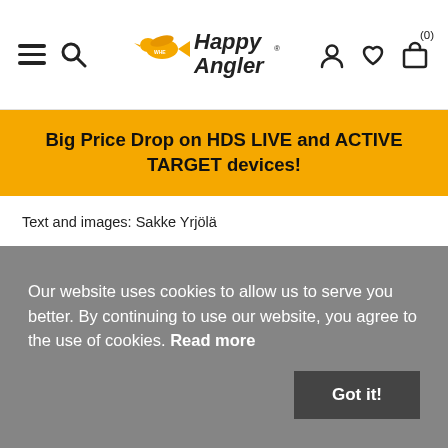Happy Angler — navigation header with hamburger menu, search, logo, user, wishlist, cart (0)
Big Price Drop on HDS LIVE and ACTIVE TARGET devices!
Text and images: Sakke Yrjölä
Our website uses cookies to allow us to serve you better. By continuing to use our website, you agree to the use of cookies. Read more
Got it!